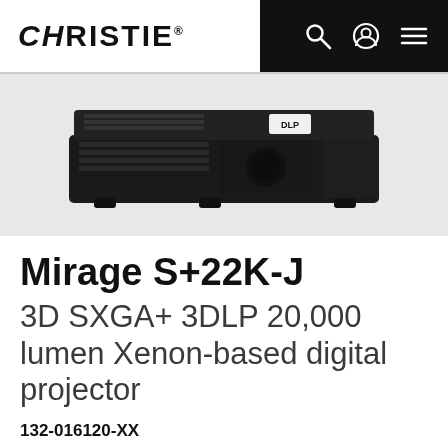CHRISTIE
[Figure (photo): Christie Mirage S+22K-J DLP projector, black, top/front angled view showing ventilation grilles and DLP badge on a light gray background]
Mirage S+22K-J
3D SXGA+ 3DLP 20,000 lumen Xenon-based digital projector
132-016120-XX